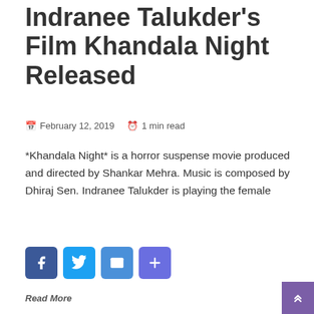Indranee Talukder's Film Khandala Night Released
February 12, 2019   1 min read
*Khandala Night* is a horror suspense movie produced and directed by Shankar Mehra. Music is composed by Dhiraj Sen. Indranee Talukder is playing the female
[Figure (infographic): Social share buttons: Facebook, Twitter, Email, Share/More]
Read More